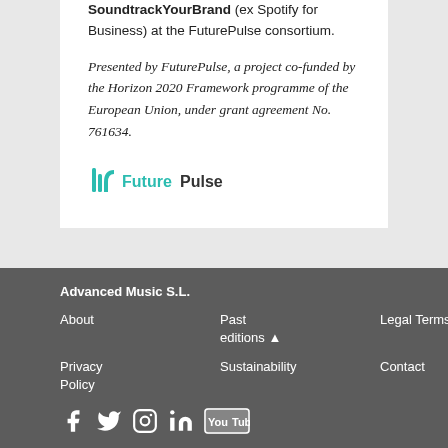SoundtrackYourBrand (ex Spotify for Business) at the FuturePulse consortium.
Presented by FuturePulse, a project co-funded by the Horizon 2020 Framework programme of the European Union, under grant agreement No. 761634.
[Figure (logo): FuturePulse logo with teal icon and FuturePulse text]
Advanced Music S.L.
About
Past editions
Legal Terms
Cookies Policy
Privacy Policy
Sustainability
Contact
[Social media icons: Facebook, Twitter, Instagram, LinkedIn, YouTube]